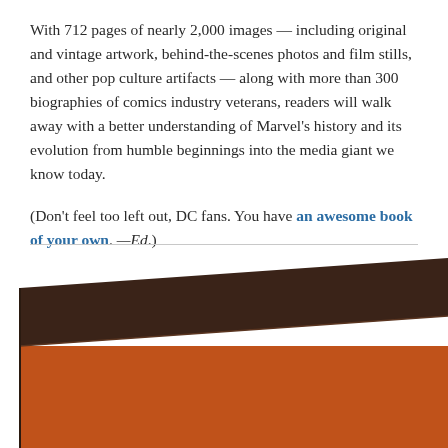With 712 pages of nearly 2,000 images — including original and vintage artwork, behind-the-scenes photos and film stills, and other pop culture artifacts — along with more than 300 biographies of comics industry veterans, readers will walk away with a better understanding of Marvel's history and its evolution from humble beginnings into the media giant we know today.

(Don't feel too left out, DC fans. You have an awesome book of your own. —Ed.)
[Figure (photo): A box set of books with dark brown spine/top and orange front face, showing three book spines at the right side reading 'The Complete']